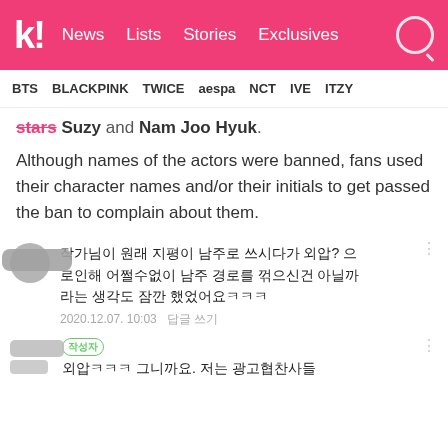k! News Lists Stories Exclusives
BTS BLACKPINK TWICE aespa NCT IVE ITZY
stars Suzy and Nam Joo Hyuk.
Although names of the actors were banned, fans used their character names and/or their initials to get passed the ban to complain about them.
작가님이 원래 지평이 남주로 쓰시다가 외압? 으로인해 어쩔수없이 남주 경로를 꺾으신건 아닐까라는 생각도 잠깐 했었어요ㅋㅋㅋ
2020.12.07. 10:03   답글 쓰기
외압ㅋㅋㅋ 그니까요. 저는 광고협찬사들